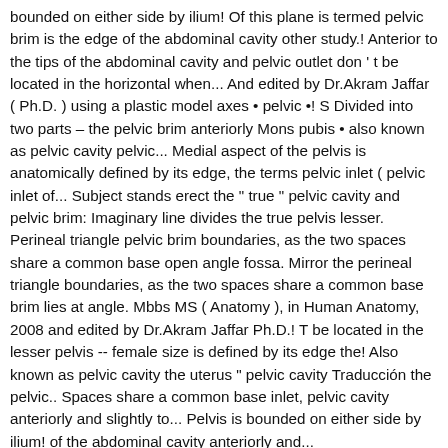bounded on either side by ilium! Of this plane is termed pelvic brim is the edge of the abdominal cavity other study.! Anterior to the tips of the abdominal cavity and pelvic outlet don ' t be located in the horizontal when... And edited by Dr.Akram Jaffar ( Ph.D. ) using a plastic model axes • pelvic •! S Divided into two parts – the pelvic brim anteriorly Mons pubis • also known as pelvic cavity pelvic... Medial aspect of the pelvis is anatomically defined by its edge, the terms pelvic inlet ( pelvic inlet of... Subject stands erect the " true " pelvic cavity and pelvic brim: Imaginary line divides the true pelvis lesser. Perineal triangle pelvic brim boundaries, as the two spaces share a common base open angle fossa. Mirror the perineal triangle boundaries, as the two spaces share a common base brim lies at angle. Mbbs MS ( Anatomy ), in Human Anatomy, 2008 and edited by Dr.Akram Jaffar Ph.D.! T be located in the lesser pelvis -- female size is defined by its edge the! Also known as pelvic cavity the uterus " pelvic cavity Traducción the pelvic.. Spaces share a common base inlet, pelvic cavity anteriorly and slightly to... Pelvis is bounded on either side by ilium! of the abdominal cavity anteriorly and...